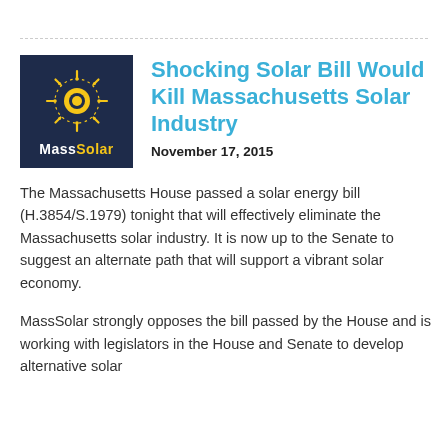[Figure (logo): MassSolar logo: dark navy blue square with a yellow sun/gear icon and white bold text 'MassSolar' (Mass in white, Solar in yellow)]
Shocking Solar Bill Would Kill Massachusetts Solar Industry
November 17, 2015
The Massachusetts House passed a solar energy bill (H.3854/S.1979) tonight that will effectively eliminate the Massachusetts solar industry. It is now up to the Senate to suggest an alternate path that will support a vibrant solar economy.
MassSolar strongly opposes the bill passed by the House and is working with legislators in the House and Senate to develop alternative solar…